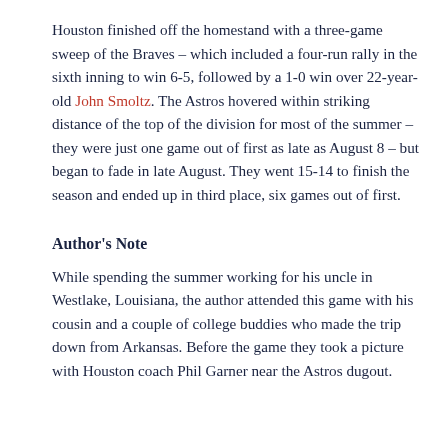Houston finished off the homestand with a three-game sweep of the Braves – which included a four-run rally in the sixth inning to win 6-5, followed by a 1-0 win over 22-year-old John Smoltz. The Astros hovered within striking distance of the top of the division for most of the summer – they were just one game out of first as late as August 8 – but began to fade in late August. They went 15-14 to finish the season and ended up in third place, six games out of first.
Author's Note
While spending the summer working for his uncle in Westlake, Louisiana, the author attended this game with his cousin and a couple of college buddies who made the trip down from Arkansas. Before the game they took a picture with Houston coach Phil Garner near the Astros dugout.